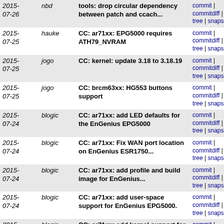| Date | Author | Message | Links |
| --- | --- | --- | --- |
| 2015-07-26 | nbd | tools: drop circular dependency between patch and ccach... | commit | commitdiff | tree | snapshot |
| 2015-07-25 | hauke | CC: ar71xx: EPG5000 requires ATH79_NVRAM | commit | commitdiff | tree | snapshot |
| 2015-07-25 | jogo | CC: kernel: update 3.18 to 3.18.19 | commit | commitdiff | tree | snapshot |
| 2015-07-25 | jogo | CC: brcm63xx: HG553 buttons support | commit | commitdiff | tree | snapshot |
| 2015-07-24 | blogic | CC: ar71xx: add LED defaults for the EnGenius EPG5000 | commit | commitdiff | tree | snapshot |
| 2015-07-24 | blogic | CC: ar71xx: Fix WAN port location on EnGenius ESR1750... | commit | commitdiff | tree | snapshot |
| 2015-07-24 | blogic | CC: ar71xx: add profile and build image for EnGenius... | commit | commitdiff | tree | snapshot |
| 2015-07-24 | blogic | CC: ar71xx: add user-space support for EnGenius EPG5000. | commit | commitdiff | tree | snapshot |
| 2015-07-24 | blogic | CC: ar71xx: add kernel support for EnGenius EPG5000. | commit | commitdiff | tree | snapshot |
| 2015-07-24 | blogic | v3: CC : ar71xx: Backport Support for the Bitmain Antmi... | commit | commitdiff | tree | snapshot |
| 2015-07-24 | blogic | ar71xx: add support for the devolo dLAN pro 1200+ WiFi ac | commit | commitdiff | tree | snapshot |
| 2015-07-24 | blogic | mac80211: make ath10k firmware v2 selectable | commit | commitdiff | tree | snapshot |
| 2015-07-24 | blogic | ar71xx: add support for the devolo dLAN pro 500 Wireless+ | commit | commitdiff | tree | snapshot |